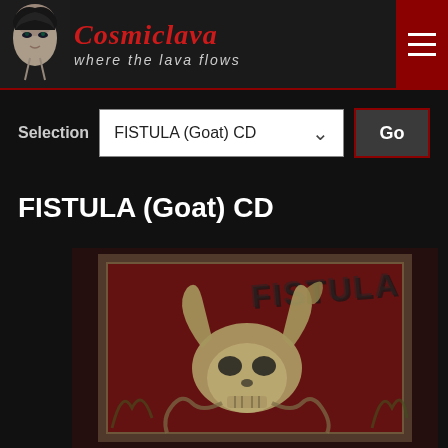[Figure (screenshot): Cosmiclava website header with logo text, tagline 'where the lava flows', face portrait on left, and hamburger menu icon on right]
Selection   FISTULA (Goat) CD   Go
FISTULA (Goat) CD
[Figure (photo): Album cover art for FISTULA Goat CD showing a demonic goat skull illustration on a red and dark background with 'FISTULA' text]